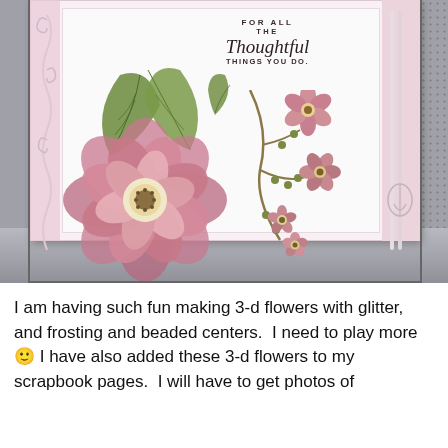[Figure (photo): A handmade greeting card with 3-d layered pink flowers, green leaves, and a branch with small blossoms. The card has decorative swirl die cuts on the sides and a sentiment that reads 'For all the thoughtful things you do.' The card is photographed on a laptop surface.]
I am having such fun making 3-d flowers with glitter, and frosting and beaded centers.  I need to play more 🙂 I have also added these 3-d flowers to my scrapbook pages.  I will have to get photos of